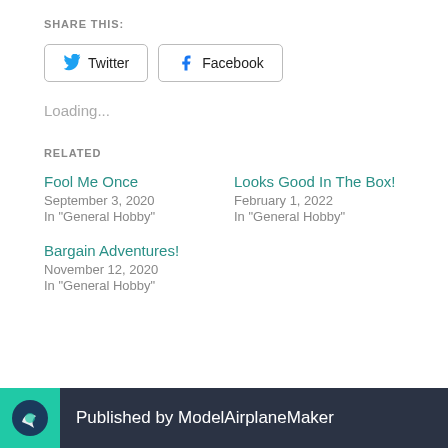SHARE THIS:
[Figure (other): Twitter and Facebook share buttons]
Loading...
RELATED
Fool Me Once
September 3, 2020
In "General Hobby"
Looks Good In The Box!
February 1, 2022
In "General Hobby"
Bargain Adventures!
November 12, 2020
In "General Hobby"
Published by ModelAirplaneMaker